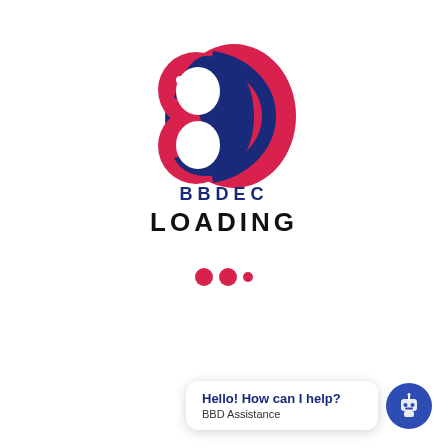[Figure (logo): BBDEC logo: two red fish-shaped forms and a navy blue swirl forming a stylized B shape, with the text BBDEC below in bold navy blue letters]
LOADING
[Figure (other): Loading indicator: two large red filled circles and one small red filled circle]
[Figure (other): Chat assistant widget: speech bubble with 'Hello! How can I help?' and 'BBD Assistance', next to a dark blue circular robot icon]
Hello! How can I help?
BBD Assistance